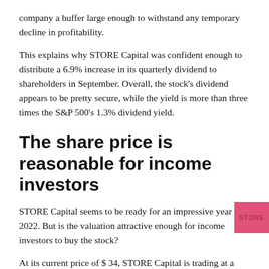company a buffer large enough to withstand any temporary decline in profitability.
This explains why STORE Capital was confident enough to distribute a 6.9% increase in its quarterly dividend to shareholders in September. Overall, the stock's dividend appears to be pretty secure, while the yield is more than three times the S&P 500's 1.3% dividend yield.
The share price is reasonable for income investors
STORE Capital seems to be ready for an impressive year 2022. But is the valuation attractive enough for income investors to buy the stock?
At its current price of $ 34, STORE Capital is trading at a multiple of AFFO futures per share of less than 16. Since STORE Capital can realistically compound its AFFO per share at a rate